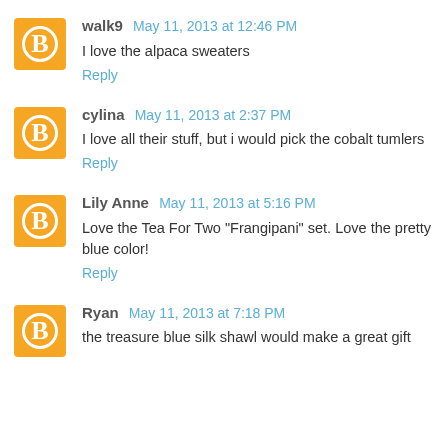walk9 May 11, 2013 at 12:46 PM
I love the alpaca sweaters
Reply
cylina May 11, 2013 at 2:37 PM
I love all their stuff, but i would pick the cobalt tumlers
Reply
Lily Anne May 11, 2013 at 5:16 PM
Love the Tea For Two "Frangipani" set. Love the pretty blue color!
Reply
Ryan May 11, 2013 at 7:18 PM
the treasure blue silk shawl would make a great gift